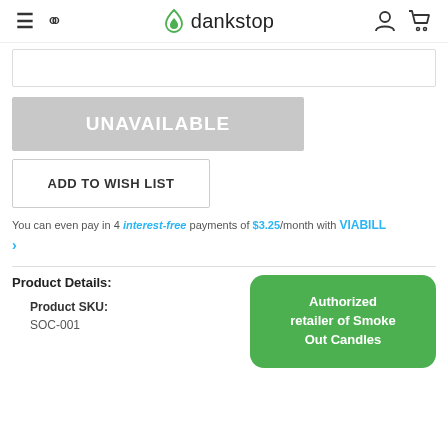dankstop
UNAVAILABLE
ADD TO WISH LIST
You can even pay in 4 interest-free payments of $3.25/month with VIABILL >
Product Details:
Product SKU:
SOC-001
Authorized retailer of Smoke Out Candles